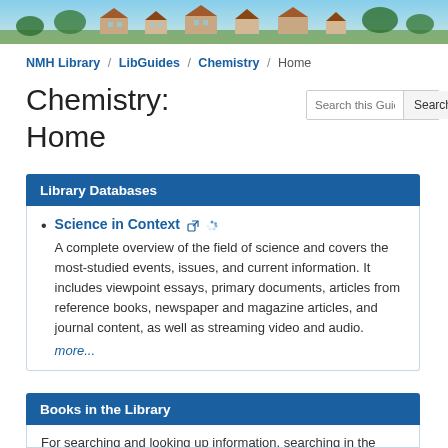[Figure (photo): Painted banner image showing buildings/houses with colorful artistic background in blues, greens, and earth tones]
NMH Library / LibGuides / Chemistry / Home
Chemistry:
Home
Library Databases
Science in Context — A complete overview of the field of science and covers the most-studied events, issues, and current information. It includes viewpoint essays, primary documents, articles from reference books, newspaper and magazine articles, and journal content, as well as streaming video and audio. more...
Books in the Library